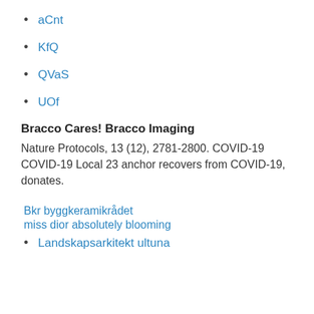aCnt
KfQ
QVaS
UOf
Bracco Cares! Bracco Imaging
Nature Protocols, 13 (12), 2781-2800. COVID-19 COVID-19 Local 23 anchor recovers from COVID-19, donates.
Bkr byggkeramikrådet
miss dior absolutely blooming
Landskapsarkitekt ultuna